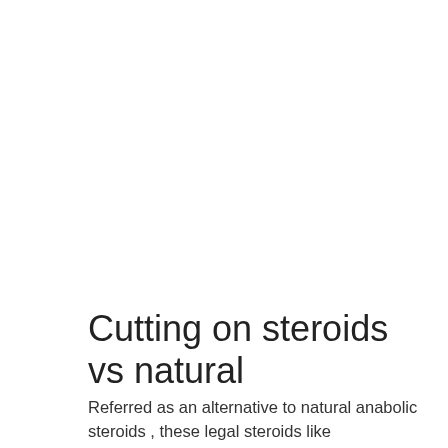Cutting on steroids vs natural
Referred as an alternative to natural anabolic steroids , these legal steroids like supplements helps its users in cutting or